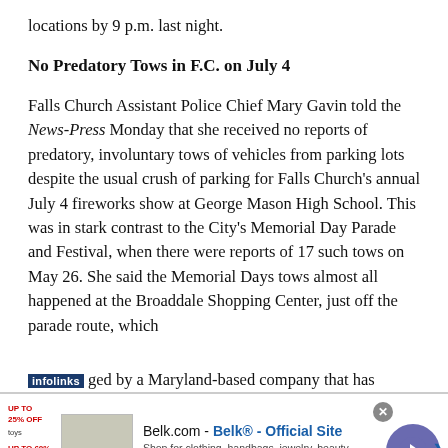locations by 9 p.m. last night.
No Predatory Tows in F.C. on July 4
Falls Church Assistant Police Chief Mary Gavin told the News-Press Monday that she received no reports of predatory, involuntary tows of vehicles from parking lots despite the usual crush of parking for Falls Church's annual July 4 fireworks show at George Mason High School. This was in stark contrast to the City's Memorial Day Parade and Festival, when there were reports of 17 such tows on May 26. She said the Memorial Days tows almost all happened at the Broaddale Shopping Center, just off the parade route, which [is mana]ged by a Maryland-based company that has
[Figure (screenshot): Infolinks ad overlay at bottom of page showing a Belk.com advertisement with text 'Belk.com - Belk® - Official Site', tagline 'Shop for clothing, handbags, jewelry, beauty, home & more!', URL 'www.belk.com', a close button, and a navigation arrow button.]